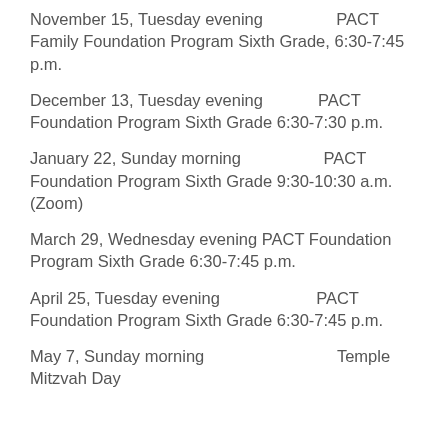November 15, Tuesday evening    PACT Family Foundation Program Sixth Grade, 6:30-7:45 p.m.
December 13, Tuesday evening    PACT Foundation Program Sixth Grade 6:30-7:30 p.m.
January 22, Sunday morning    PACT Foundation Program Sixth Grade 9:30-10:30 a.m. (Zoom)
March 29, Wednesday evening PACT Foundation Program Sixth Grade 6:30-7:45 p.m.
April 25, Tuesday evening    PACT Foundation Program Sixth Grade 6:30-7:45 p.m.
May 7, Sunday morning    Temple Mitzvah Day